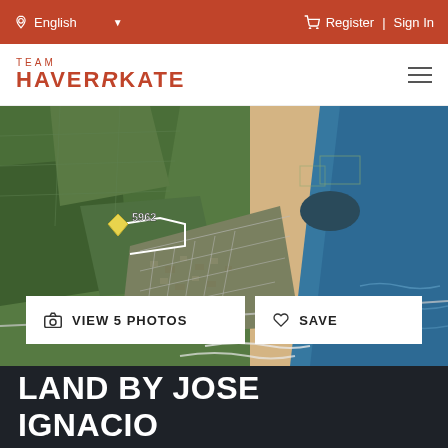English | Register | Sign In
[Figure (logo): Team Haverkate real estate logo with hamburger menu]
[Figure (photo): Aerial satellite view of coastal land near Jose Ignacio showing green fields, a coastal village, sandy beach and ocean. A property marker labeled 5962 is shown on the left side.]
VIEW 5 PHOTOS
SAVE
LAND BY JOSE IGNACIO